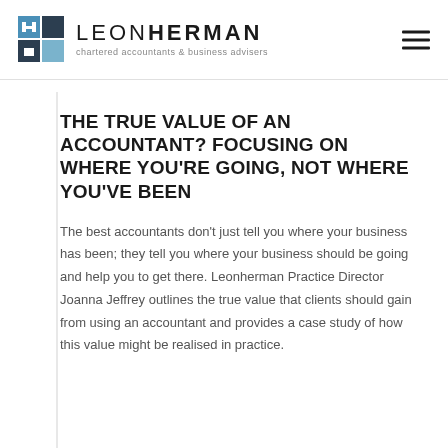LEON HERMAN chartered accountants & business advisers
THE TRUE VALUE OF AN ACCOUNTANT? FOCUSING ON WHERE YOU'RE GOING, NOT WHERE YOU'VE BEEN
The best accountants don't just tell you where your business has been; they tell you where your business should be going and help you to get there. Leonherman Practice Director Joanna Jeffrey outlines the true value that clients should gain from using an accountant and provides a case study of how this value might be realised in practice.